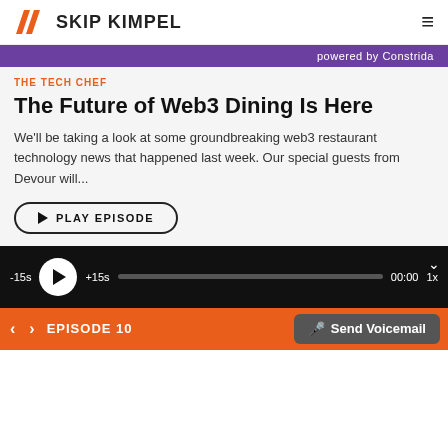SKIP KIMPEL
[Figure (screenshot): Purple banner with text 'powered by Constrida']
THE TECH CHEF
The Future of Web3 Dining Is Here
We'll be taking a look at some groundbreaking web3 restaurant technology news that happened last week. Our special guests from Devour will...
PLAY EPISODE
[Figure (screenshot): Audio player bar with -15s, play button, +15s, progress bar, 00:00 time, 1x speed, and chevron down]
EPISODE 10 | Send Voicemail